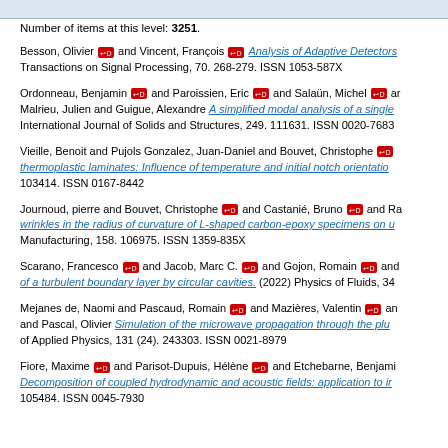Number of items at this level: 3251.
Besson, Olivier and Vincent, François Analysis of Adaptive Detectors... Transactions on Signal Processing, 70. 268-279. ISSN 1053-587X
Ordonneau, Benjamin and Paroissien, Eric and Salaün, Michel and ... Malrieu, Julien and Guigue, Alexandre A simplified modal analysis of a single... International Journal of Solids and Structures, 249. 111631. ISSN 0020-7683
Vieille, Benoit and Pujols Gonzalez, Juan-Daniel and Bouvet, Christophe thermoplastic laminates: Influence of temperature and initial notch orientation... 103414. ISSN 0167-8442
Journoud, pierre and Bouvet, Christophe and Castanié, Bruno and Ra... wrinkles in the radius of curvature of L-shaped carbon-epoxy specimens on u... Manufacturing, 158. 106975. ISSN 1359-835X
Scarano, Francesco and Jacob, Marc C. and Gojon, Romain and ... of a turbulent boundary layer by circular cavities. (2022) Physics of Fluids, 34
Mejanes de, Naomi and Pascaud, Romain and Mazières, Valentin and ... and Pascal, Olivier Simulation of the microwave propagation through the plu... of Applied Physics, 131 (24). 243303. ISSN 0021-8979
Fiore, Maxime and Parisot-Dupuis, Hélène and Etchebarne, Benjami... Decomposition of coupled hydrodynamic and acoustic fields: application to ir... 105484. ISSN 0045-7930